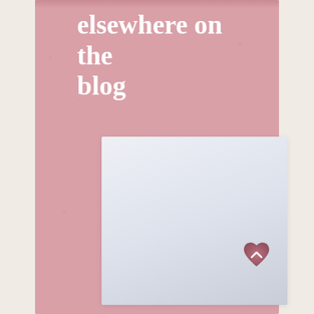elsewhere on the blog
[Figure (illustration): White/light blue-grey blank card or image placeholder on pink background]
[Figure (other): Pink heart-shaped scroll-to-top button with white chevron arrow]